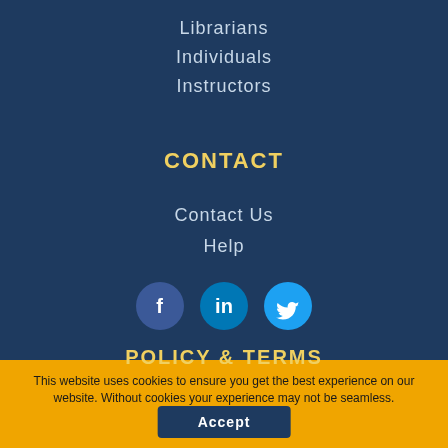Librarians
Individuals
Instructors
CONTACT
Contact Us
Help
[Figure (infographic): Three social media icons: Facebook (blue circle with f), LinkedIn (blue circle with in), Twitter (light blue circle with bird)]
POLICY & TERMS
This website uses cookies to ensure you get the best experience on our website. Without cookies your experience may not be seamless.
Accept